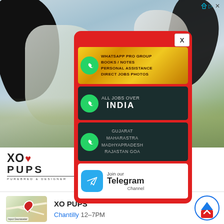[Figure (photo): Background photo of a dog, close-up showing fur and ears with blurred outdoor background]
[Figure (infographic): Popup advertisement with red background containing WhatsApp group promotions and Telegram channel join banner. Shows: 'WHATSAPP PRO GROUP BOOKS / NOTES PERSONAL ASSISTANCE DIRECT JOBS PHOTOS', 'ALL JOBS OVER INDIA', 'GUJARAT MAHARASTRA MADHYAPRADESH RAJASTAN GOA', and 'Join our Telegram Channel']
[Figure (logo): XO PUPS logo with heart symbol, text 'PUREBRED & DESIGNER' below]
Love Is
[Figure (map): Map thumbnail showing location pin for XO PUPS in Chantilly]
XO PUPS
Chantilly 12-7PM